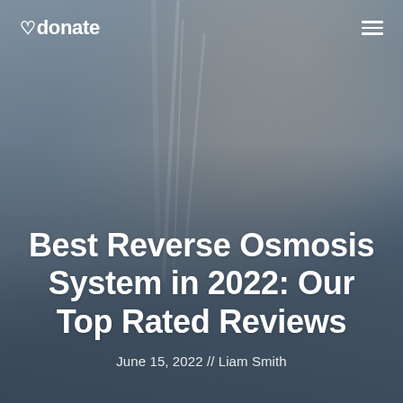[Figure (photo): Hero background image of a woman drinking water from a glass, blurred/soft focus, with blue-grey tones]
♡donate  ≡
Best Reverse Osmosis System in 2022: Our Top Rated Reviews
June 15, 2022 // Liam Smith